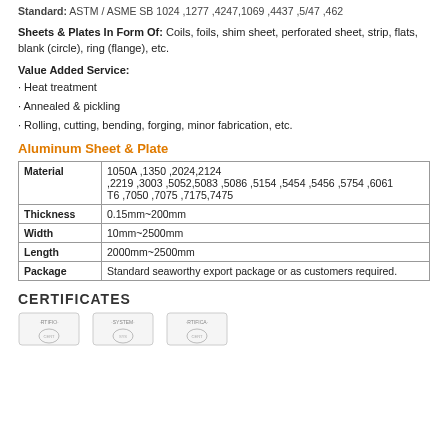Standard: ASTM / ASME SB 1024 1277 4247 1069 4437 5/47 462
Sheets & Plates In Form Of: Coils, foils, shim sheet, perforated sheet, strip, flats, blank (circle), ring (flange), etc.
Value Added Service:
· Heat treatment
· Annealed & pickling
· Rolling, cutting, bending, forging, minor fabrication, etc.
Aluminum Sheet & Plate
| Material |  |
| --- | --- |
| Material | 1050A ,1350 ,2024,2124
,2219 ,3003 ,5052,5083 ,5086 ,5154 ,5454 ,5456 ,5754 ,6061
T6 ,7050 ,7075 ,7175,7475 |
| Thickness | 0.15mm~200mm |
| Width | 10mm~2500mm |
| Length | 2000mm~2500mm |
| Package | Standard seaworthy export package or as customers required. |
CERTIFICATES
[Figure (other): Three certification logos/badges shown at the bottom of the page]